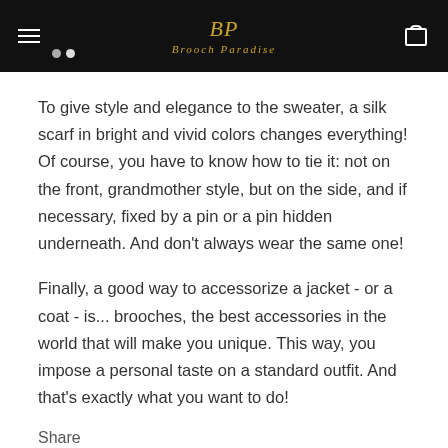Brooch Paradise
To give style and elegance to the sweater, a silk scarf in bright and vivid colors changes everything! Of course, you have to know how to tie it: not on the front, grandmother style, but on the side, and if necessary, fixed by a pin or a pin hidden underneath. And don't always wear the same one!
Finally, a good way to accessorize a jacket - or a coat - is... brooches, the best accessories in the world that will make you unique. This way, you impose a personal taste on a standard outfit. And that's exactly what you want to do!
Share
RECENT ARTICLES